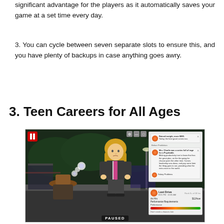significant advantage for the players as it automatically saves your game at a set time every day.
3. You can cycle between seven separate slots to ensure this, and you have plenty of backups in case anything goes awry.
3. Teen Careers for All Ages
[Figure (screenshot): Screenshot from The Sims 4 showing a blonde female character standing outside near a bus stop. A UI notification panel is visible in the top-right corner with notifications and a 'Last Drive' career panel in the bottom-right. A 'PAUSED' label appears at the bottom center. Another character with a brown hat is visible in the foreground.]